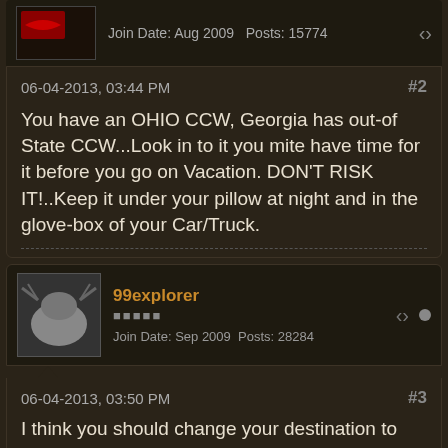Join Date: Aug 2009   Posts: 15774
06-04-2013, 03:44 PM   #2
You have an OHIO CCW, Georgia has out-of State CCW...Look in to it you mite have time for it before you go on Vacation. DON'T RISK IT!..Keep it under your pillow at night and in the glove-box of your Car/Truck.
99explorer
Join Date: Sep 2009   Posts: 28284
06-04-2013, 03:50 PM   #3
I think you should change your destination to South Carolina or Florida, as they will recognize